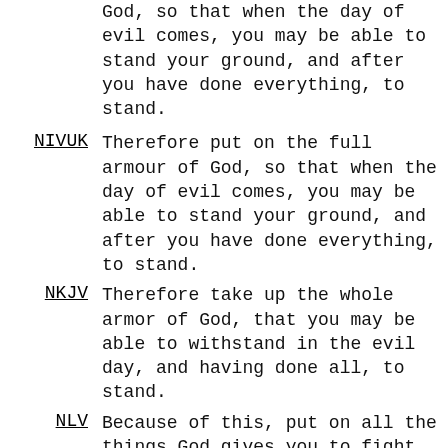God, so that when the day of evil comes, you may be able to stand your ground, and after you have done everything, to stand.
NIVUK — Therefore put on the full armour of God, so that when the day of evil comes, you may be able to stand your ground, and after you have done everything, to stand.
NKJV — Therefore take up the whole armor of God, that you may be able to withstand in the evil day, and having done all, to stand.
NLV — Because of this, put on all the things God gives you to fight with. Then you will be able to stand in that sinful day. When it is all over, you will still be standing.
NLT — Therefore, put on every piece of God...